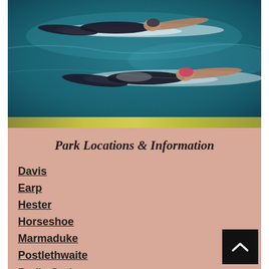[Figure (photo): Two swimmers underwater, photographed from above, swimming in a pool with teal-blue water and white splash trails]
Park Locations & Information
Davis
Earp
Hester
Horseshoe
Marmaduke
Postlethwaite
Radio Springs
Spring Street